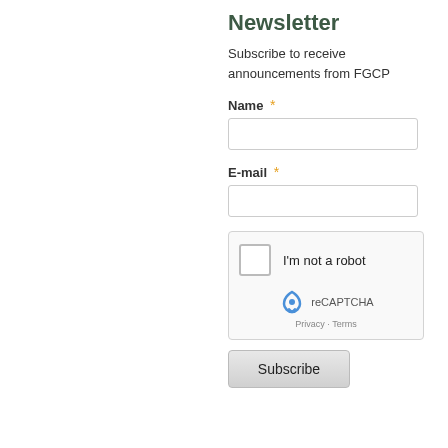Newsletter
Subscribe to receive announcements from FGCP
Name *
E-mail *
[Figure (screenshot): reCAPTCHA widget with checkbox labeled 'I'm not a robot' and reCAPTCHA logo with Privacy and Terms links]
Subscribe